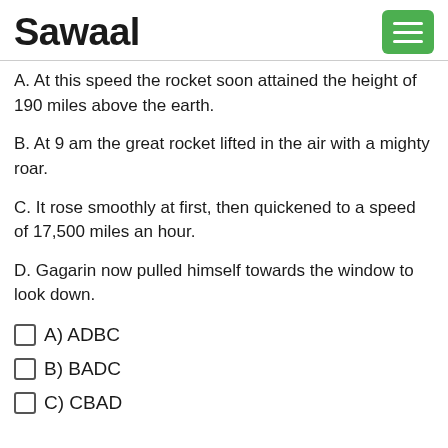Sawaal
A. At this speed the rocket soon attained the height of 190 miles above the earth.
B. At 9 am the great rocket lifted in the air with a mighty roar.
C. It rose smoothly at first, then quickened to a speed of 17,500 miles an hour.
D. Gagarin now pulled himself towards the window to look down.
A) ADBC
B) BADC
C) CBAD